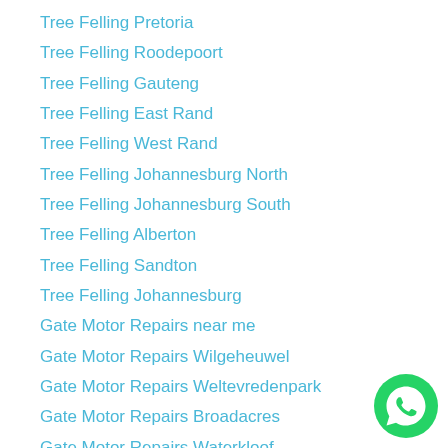Tree Felling Pretoria
Tree Felling Roodepoort
Tree Felling Gauteng
Tree Felling East Rand
Tree Felling West Rand
Tree Felling Johannesburg North
Tree Felling Johannesburg South
Tree Felling Alberton
Tree Felling Sandton
Tree Felling Johannesburg
Gate Motor Repairs near me
Gate Motor Repairs Wilgeheuwel
Gate Motor Repairs Weltevredenpark
Gate Motor Repairs Broadacres
Gate Motor Repairs Waterkloof
Gate Motor Repairs Faerie Glen
Gate Motor Repairs Moreleta Park
Gate Motor Repairs Menlo Park
Gate Motor Repairs Elardus Park
[Figure (logo): WhatsApp green chat bubble logo icon]